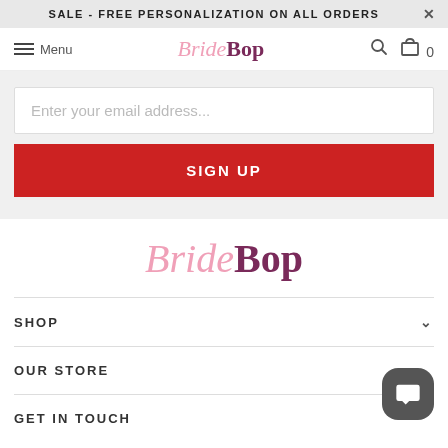SALE - FREE PERSONALIZATION ON ALL ORDERS
[Figure (logo): BrideBop logo in navbar]
Enter your email address...
SIGN UP
[Figure (logo): BrideBop large footer logo]
SHOP
OUR STORE
GET IN TOUCH